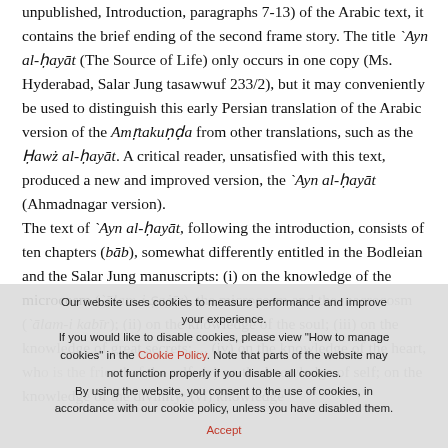unpublished, Introduction, paragraphs 7-13) of the Arabic text, it contains the brief ending of the second frame story. The title `Ayn al-ḥayāt (The Source of Life) only occurs in one copy (Ms. Hyderabad, Salar Jung tasawwuf 233/2), but it may conveniently be used to distinguish this early Persian translation of the Arabic version of the Amṛtakuṇḍa from other translations, such as the Ḥawż al-ḥayāt. A critical reader, unsatisfied with this text, produced a new and improved version, the `Ayn al-ḥayāt (Ahmadnagar version). The text of `Ayn al-ḥayāt, following the introduction, consists of ten chapters (bāb), somewhat differently entitled in the Bodleian and the Salar Jung manuscripts: (i) on the knowledge of the microcosm (`ālam-i ṣaġīr), the microcosm and the macrocosm (`ālam-i kabīr); (ii) on the knowledge of the soul; (iii) on the knowledge of great secrets; ... (iv) on the knowledge of the heart, who is friend of the self; (v) on the knowledge of self; on the knowledge of the divinity; (vi) knowledge ...
Our website uses cookies to measure performance and improve your experience. If you would like to disable cookies, please view "How to manage cookies" in the Cookie Policy. Note that parts of the website may not function properly if you disable all cookies. By using the website, you consent to the use of cookies, in accordance with our cookie policy, unless you have disabled them. Accept